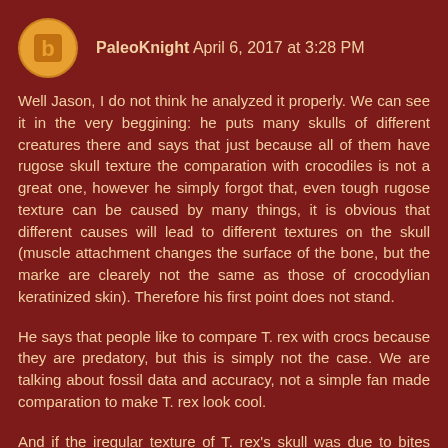PaleoKnight April 6, 2017 at 3:28 PM
Well Jason, I do not think he analyzed it properly. We can see it in the very beggining: he puts many skulls of different creatures there and says that just because all of them have rugose skull texture the comparation with crocodiles is not a great one, however he simply forgot that, even tough rugose texture can be caused by many things, it is obvious that different causes will lead to different textures on the skull (muscle attachment changes the surface of the bone, but the marke are clearely not the same as those of crocodylian keratinized skin). Therefore his first point does not stand.
He says that people like to compare T. rex with crocs because they are predatory, but this is simply not the case. We are talking about fossil data and accuracy, not a simple fan made comparation to make T. rex look cool.
And if the iregular texture of T. rex's skull was due to bites from rivals, the paleontologists would have realized it. The tooth have a specific shape and thanks to this it is easy for...